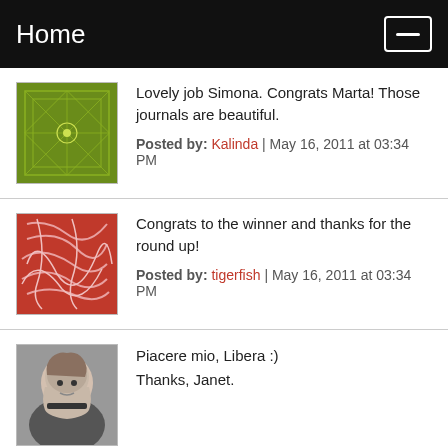Home
Lovely job Simona. Congrats Marta! Those journals are beautiful.
Posted by: Kalinda | May 16, 2011 at 03:34 PM
Congrats to the winner and thanks for the round up!
Posted by: tigerfish | May 16, 2011 at 03:34 PM
Piacere mio, Libera :)
Thanks, Janet.
Ciao Marta. Sono contenta che la sorpresa sia arrivata a tirarti un po' su di morale. Mi hai battuto in velocita' e hai risposto alla domanda che ti avrei mandato per email. Il diario rosso ti verra' spedito quanto prima.
Thank you, Ivy, for the kind words.